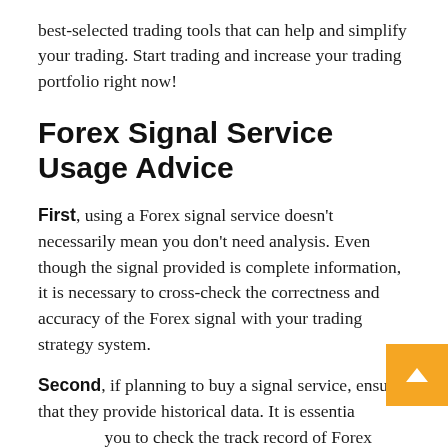best-selected trading tools that can help and simplify your trading. Start trading and increase your trading portfolio right now!
Forex Signal Service Usage Advice
First, using a Forex signal service doesn't necessarily mean you don't need analysis. Even though the signal provided is complete information, it is necessary to cross-check the correctness and accuracy of the Forex signal with your trading strategy system.
Second, if planning to buy a signal service, ensure that they provide historical data. It is essential you to check the track record of Forex signals whether the drawdown was too high in the past or